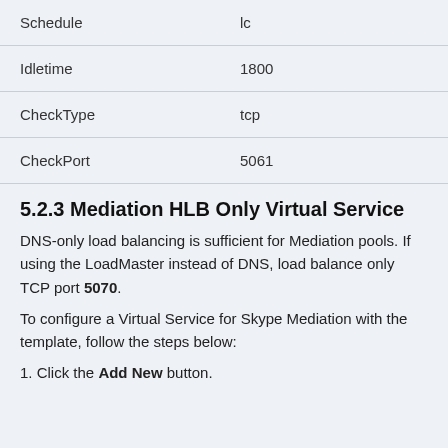| Schedule | lc |
| Idletime | 1800 |
| CheckType | tcp |
| CheckPort | 5061 |
5.2.3 Mediation HLB Only Virtual Service
DNS-only load balancing is sufficient for Mediation pools. If using the LoadMaster instead of DNS, load balance only TCP port 5070.
To configure a Virtual Service for Skype Mediation with the template, follow the steps below:
1. Click the Add New button.